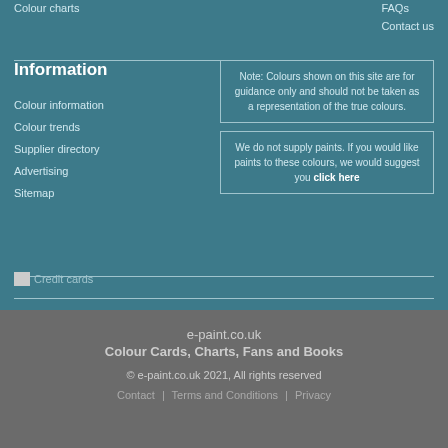Colour charts | FAQs
Contact us
Information
Colour information
Colour trends
Supplier directory
Advertising
Sitemap
Note: Colours shown on this site are for guidance only and should not be taken as a representation of the true colours.
We do not supply paints. If you would like paints to these colours, we would suggest you click here
[Figure (other): Credit cards image with text 'Credit cards']
e-paint.co.uk
Colour Cards, Charts, Fans and Books
© e-paint.co.uk 2021, All rights reserved
Contact | Terms and Conditions | Privacy